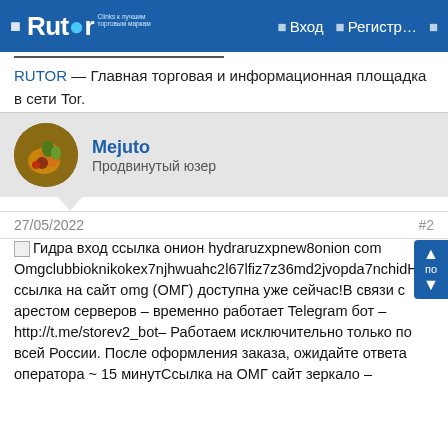Rutor — Вход   Регистр...
RUTOR — Главная торговая и информационная площадка в сети Tor.
Mejuto
Продвинутый юзер
27/05/2022   #2
[Гидра вход ссылка онион hydraruzxpnew8onion com Omgclubbioknikokex7njhwuahc2l67lfiz7z36md2jvopda7nchidHовая ссылка на сайт omg (ОМГ) доступна уже сейчас!В связи с арестом серверов – временно работает Telegram бот – http://t.me/storev2_bot– Работаем исключительно только по всей России. После оформления заказа, ожидайте ответа оператора ~ 15 минутСсылка на ОМГ сайт зеркало –